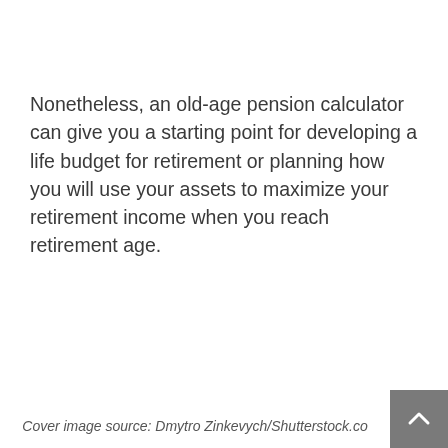Nonetheless, an old-age pension calculator can give you a starting point for developing a life budget for retirement or planning how you will use your assets to maximize your retirement income when you reach retirement age.
Cover image source: Dmytro Zinkevych/Shutterstock.co